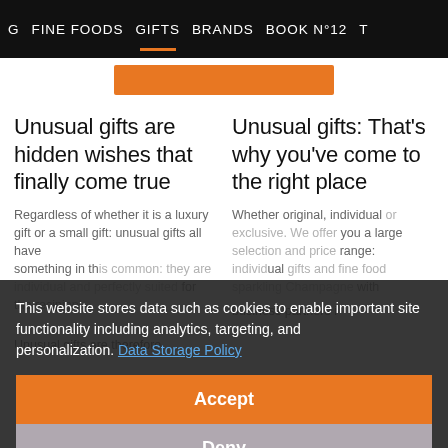G   FINE FOODS   GIFTS   BRANDS   BOOK N°12   T
[Figure (other): Orange button/strip element below navigation bar]
Unusual gifts are hidden wishes that finally come true
Unusual gifts: That's why you've come to the right place
Regardless of whether it is a luxury gift or a small gift: unusual gifts all have something in common: they are individual and perfectly suited for the recipient.
Whether original, individual or exclusive. We offer you a large selection and price range: individual gifts and fine food for the recipient. Sparkling Champagne with business partners i...
Unusual gifts are therefore
business partners i
This website stores data such as cookies to enable important site functionality including analytics, targeting, and personalization. Data Storage Policy
Accept
Deny
English